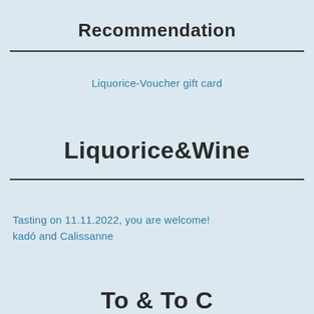Recommendation
Liquorice-Voucher gift card
Liquorice&Wine
Tasting on 11.11.2022, you are welcome!
kadó and Calissanne